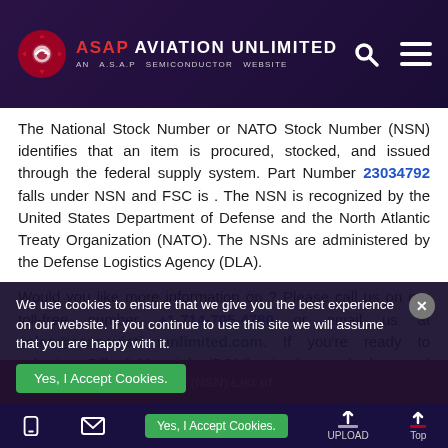ASAP AVIATION UNLIMITED — AN A.S.A.P SEMICONDUCTOR WEBSITE
The National Stock Number or NATO Stock Number (NSN) identifies that an item is procured, stocked, and issued through the federal supply system. Part Number 23034792 falls under NSN and FSC is . The NSN is recognized by the United States Department of Defense and the North Atlantic Treaty Organization (NATO). The NSNs are administered by the Defense Logistics Agency (DLA).
Would you like more information on ? Please call us on our toll-free number +1-714-705-4780 or email us at sales@asapaviationunlimited.com. If you're ready to submit a Bill of Materials (BOM), simply attach the excel format file to your email and a dedicated representative will contact you shortly.
We use cookies to ensure that we give you the best experience on our website. If you continue to use this site we will assume that you are happy with it.
Yes, I Accept Cookies. | UPLOAD | Top